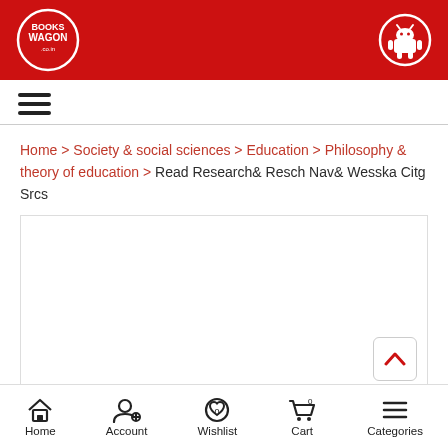[Figure (logo): Books Wagon logo - white circular badge with red background in header]
[Figure (logo): Android robot icon in white circle on red header background]
[Figure (other): Hamburger menu icon (three horizontal lines)]
Home > Society & social sciences > Education > Philosophy & theory of education > Read Research& Resch Nav& Wesska Citg Srcs
[Figure (screenshot): White content area with scroll-to-top button in bottom right corner]
Home  Account  Wishlist  Cart  Categories